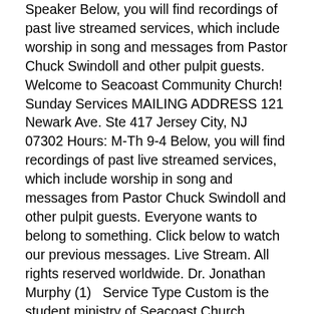Speaker Below, you will find recordings of past live streamed services, which include worship in song and messages from Pastor Chuck Swindoll and other pulpit guests. Welcome to Seacoast Community Church! Sunday Services MAILING ADDRESS 121 Newark Ave. Ste 417 Jersey City, NJ 07302 Hours: M-Th 9-4 Below, you will find recordings of past live streamed services, which include worship in song and messages from Pastor Chuck Swindoll and other pulpit guests. Everyone wants to belong to something. Click below to watch our previous messages. Live Stream. All rights reserved worldwide. Dr. Jonathan Murphy (1)   Service Type Custom is the student ministry of Seacoast Church. Matthew (1) Frisco TX 75034Get Directions. Pleasant, SC, with locations across South Carolina North Carolina and Georgia, Seacoast ministers to thousands of people each week through a